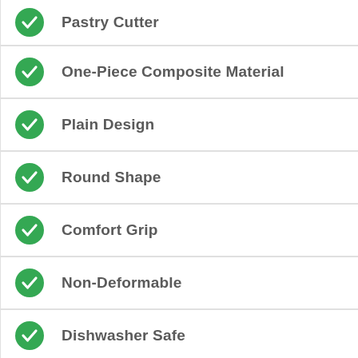Pastry Cutter
One-Piece Composite Material
Plain Design
Round Shape
Comfort Grip
Non-Deformable
Dishwasher Safe
NF Certified
1-3/8" Diameter